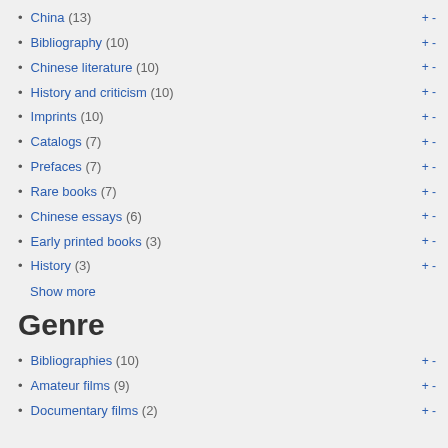China (13)
Bibliography (10)
Chinese literature (10)
History and criticism (10)
Imprints (10)
Catalogs (7)
Prefaces (7)
Rare books (7)
Chinese essays (6)
Early printed books (3)
History (3)
Show more
Genre
Bibliographies (10)
Amateur films (9)
Documentary films (2)